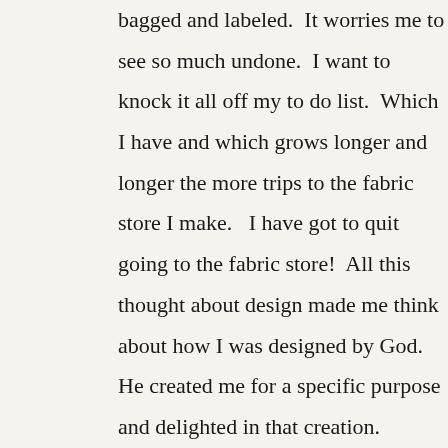bagged and labeled.  It worries me to see so much undone.  I want to knock it all off my to do list.  Which I have and which grows longer and longer the more trips to the fabric store I make.   I have got to quit going to the fabric store!  All this thought about design made me think about how I was designed by God.  He created me for a specific purpose and delighted in that creation.  Sometimes I chaff under His leadership thinking what he